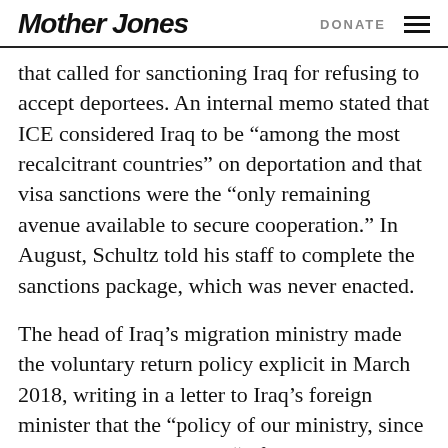Mother Jones | DONATE
that called for sanctioning Iraq for refusing to accept deportees. An internal memo stated that ICE considered Iraq to be “among the most recalcitrant countries” on deportation and that visa sanctions were the “only remaining avenue available to secure cooperation.” In August, Schultz told his staff to complete the sanctions package, which was never enacted.
The head of Iraq’s migration ministry made the voluntary return policy explicit in March 2018, writing in a letter to Iraq’s foreign minister that the “policy of our ministry, since it was established” is to “refuse the principle of forced return of Iraqis